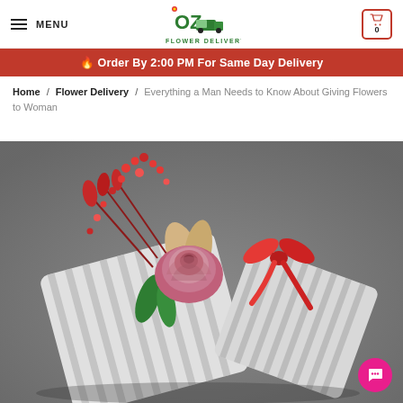MENU | OZ Flower Delivery | Cart 0
🔥 Order By 2:00 PM For Same Day Delivery
Home / Flower Delivery / Everything a Man Needs to Know About Giving Flowers to Woman
[Figure (photo): A bouquet of a pink rose with red berries and red dried flowers, wrapped in white and grey striped paper, tied with a red satin ribbon bow, photographed on a grey background.]